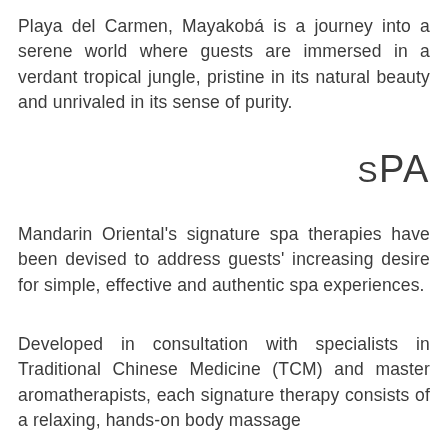Playa del Carmen, Mayakobá is a journey into a serene world where guests are immersed in a verdant tropical jungle, pristine in its natural beauty and unrivaled in its sense of purity.
Spa
Mandarin Oriental's signature spa therapies have been devised to address guests' increasing desire for simple, effective and authentic spa experiences.
Developed in consultation with specialists in Traditional Chinese Medicine (TCM) and master aromatherapists, each signature therapy consists of a relaxing, hands-on body massage